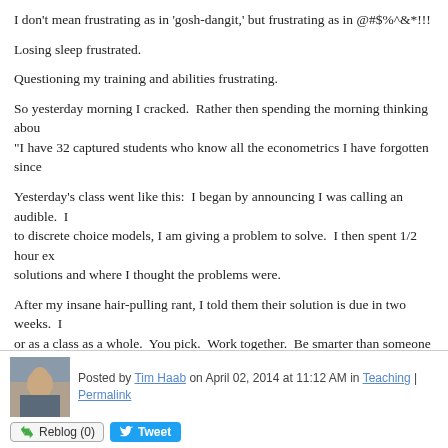I don't mean frustrating as in 'gosh-dangit,' but frustrating as in @#$%^&*!!!
Losing sleep frustrated.
Questioning my training and abilities frustrating.
So yesterday morning I cracked.  Rather then spending the morning thinking about "I have 32 captured students who know all the econometrics I have forgotten since
Yesterday's class went like this:  I began by announcing I was calling an audible. Instead of moving on to discrete choice models, I am giving a problem to solve.  I then spent 1/2 hour explaining their solutions and where I thought the problems were.
After my insane hair-pulling rant, I told them their solution is due in two weeks.  I don't care if you work alone or as a class as a whole.  You pick.  Work together.  Be smarter than someone else.  But if you work in a group everyone in your group will get the same grade.
In fact, I don't care about your grade.
I just want answers.
Then I left the room.
I have no idea what happened after that.
Posted by Tim Haab on April 02, 2014 at 11:12 AM in Teaching | Permalink